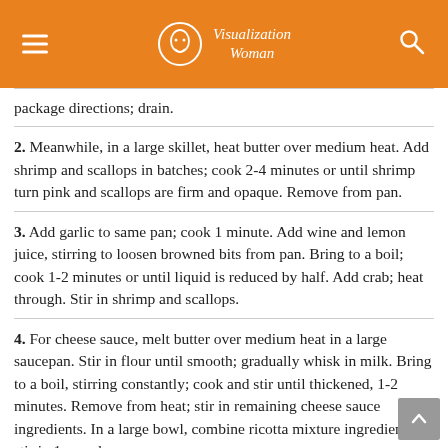Visualization Woman
package directions; drain.
2. Meanwhile, in a large skillet, heat butter over medium heat. Add shrimp and scallops in batches; cook 2-4 minutes or until shrimp turn pink and scallops are firm and opaque. Remove from pan.
3. Add garlic to same pan; cook 1 minute. Add wine and lemon juice, stirring to loosen browned bits from pan. Bring to a boil; cook 1-2 minutes or until liquid is reduced by half. Add crab; heat through. Stir in shrimp and scallops.
4. For cheese sauce, melt butter over medium heat in a large saucepan. Stir in flour until smooth; gradually whisk in milk. Bring to a boil, stirring constantly; cook and stir until thickened, 1-2 minutes. Remove from heat; stir in remaining cheese sauce ingredients. In a large bowl, combine ricotta mixture ingredients; stir in 1 cup cheese sauce.
5. Spread 1/2 cup cheese sauce into a greased 13x9-in.